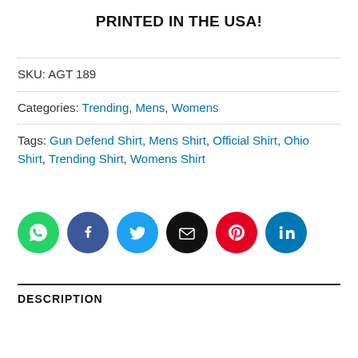PRINTED IN THE USA!
SKU: AGT 189
Categories: Trending, Mens, Womens
Tags: Gun Defend Shirt, Mens Shirt, Official Shirt, Ohio Shirt, Trending Shirt, Womens Shirt
[Figure (infographic): Row of six social media share icons: WhatsApp (green), Facebook (dark blue), Twitter (light blue), Email (black), Pinterest (red), LinkedIn (blue)]
DESCRIPTION